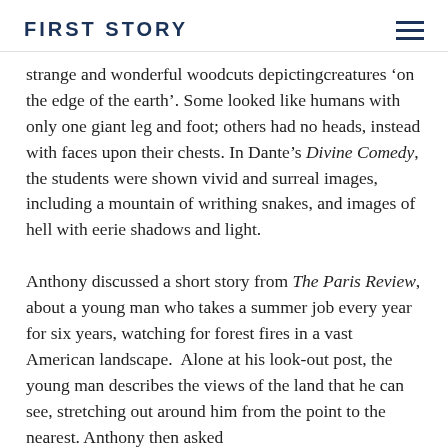FIRST STORY
strange and wonderful woodcuts depictingcreatures ‘on the edge of the earth’. Some looked like humans with only one giant leg and foot; others had no heads, instead with faces upon their chests. In Dante’s Divine Comedy, the students were shown vivid and surreal images, including a mountain of writhing snakes, and images of hell with eerie shadows and light.
Anthony discussed a short story from The Paris Review, about a young man who takes a summer job every year for six years, watching for forest fires in a vast American landscape.  Alone at his look-out post, the young man describes the views of the land that he can see, stretching out around him from the point to the nearest. Anthony then asked